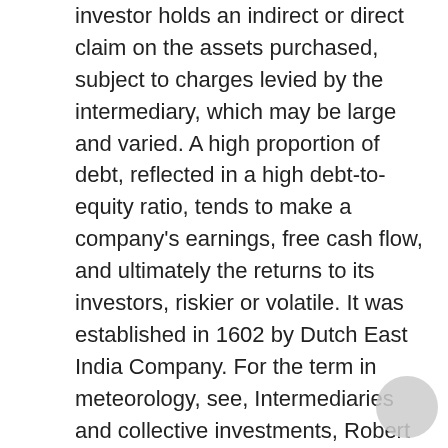investor holds an indirect or direct claim on the assets purchased, subject to charges levied by the intermediary, which may be large and varied. A high proportion of debt, reflected in a high debt-to-equity ratio, tends to make a company's earnings, free cash flow, and ultimately the returns to its investors, riskier or volatile. It was established in 1602 by Dutch East India Company. For the term in meteorology, see, Intermediaries and collective investments, Robert H. Hillman, "Limited Liability in Historical Perspective", (Washington and Lee Law Review, Spring 1997), Benedikt Koehler, "Islamic Finance as a Progenitor of Venture Capital", (Economic Affairs, December 2009), https://www.earnmoneyfx.com/200-moving-average-strategies-part-4/, Learn how and when to remove this template message, List of countries by gross fixed investment as percentage of GDP, "Which is the oldest stock exchange in the world? You can hire an investment management service, … For example, if an entity is engaged in the production of goods, it may manufacture or acquire a